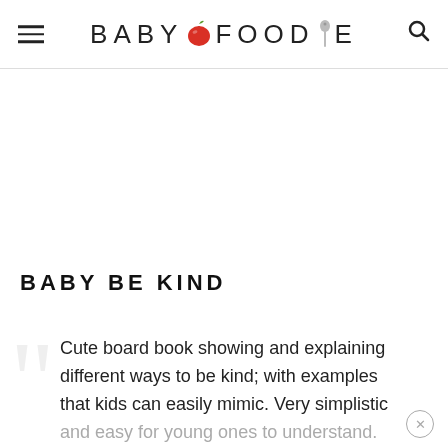BABY FOODIE
BABY BE KIND
Cute board book showing and explaining different ways to be kind; with examples that kids can easily mimic. Very simplistic and easy for young ones to understand. The message was not lost upon my older